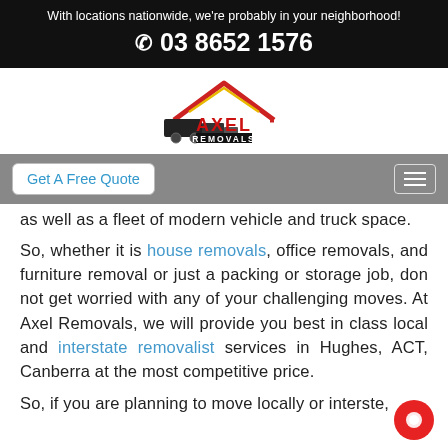With locations nationwide, we're probably in your neighborhood!
☎ 03 8652 1576
[Figure (logo): Axel Removals logo: red house roof outline above a moving truck silhouette and 'AXEL REMOVALS' text in red and black.]
Get A Free Quote
as well as a fleet of modern vehicle and truck space.
So, whether it is house removals, office removals, and furniture removal or just a packing or storage job, don not get worried with any of your challenging moves. At Axel Removals, we will provide you best in class local and interstate removalist services in Hughes, ACT, Canberra at the most competitive price.
So, if you are planning to move locally or interstate,